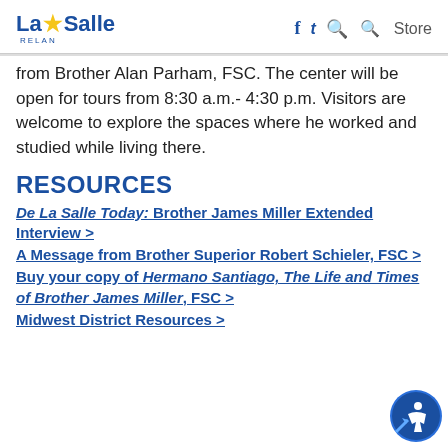La Salle RELAN — navigation with Facebook, Twitter, Search icons and Store link
from Brother Alan Parham, FSC. The center will be open for tours from 8:30 a.m.- 4:30 p.m. Visitors are welcome to explore the spaces where he worked and studied while living there.
RESOURCES
De La Salle Today: Brother James Miller Extended Interview >
A Message from Brother Superior Robert Schieler, FSC >
Buy your copy of Hermano Santiago, The Life and Times of Brother James Miller, FSC >
Midwest District Resources >